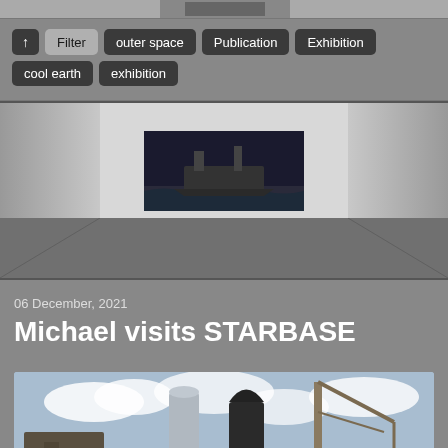[Figure (photo): Partial top strip of an image, cropped at top of page]
↑ Filter outer space Publication Exhibition cool earth exhibition
[Figure (photo): Gallery room interior with artwork of a boat/ship on back wall]
06 December, 2021
Michael visits STARBASE
[Figure (photo): SpaceX Starbase facility with Starship rocket, cranes, and construction equipment under cloudy sky]